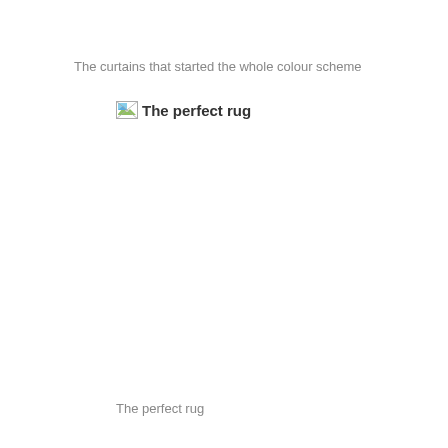The curtains that started the whole colour scheme
[Figure (photo): Broken image placeholder with alt text 'The perfect rug']
The perfect rug